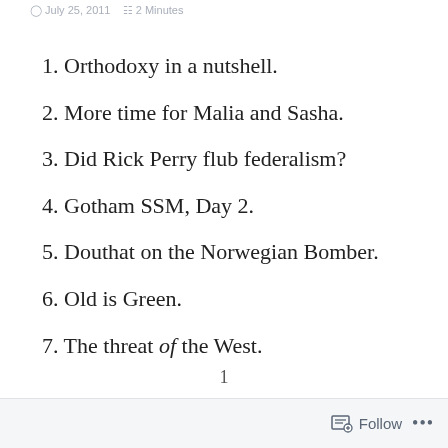July 25, 2011   2 Minutes
1. Orthodoxy in a nutshell.
2. More time for Malia and Sasha.
3. Did Rick Perry flub federalism?
4. Gotham SSM, Day 2.
5. Douthat on the Norwegian Bomber.
6. Old is Green.
7. The threat of the West.
1
Follow ...